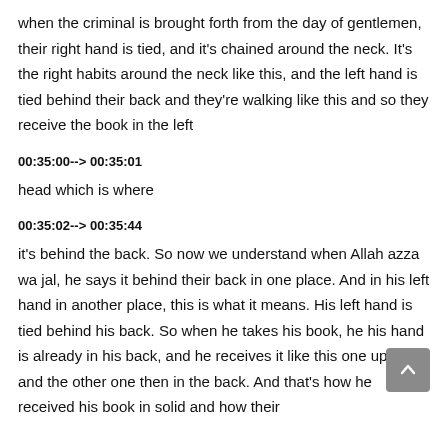when the criminal is brought forth from the day of gentlemen, their right hand is tied, and it's chained around the neck. It's the right habits around the neck like this, and the left hand is tied behind their back and they're walking like this and so they receive the book in the left
00:35:00--> 00:35:01
head which is where
00:35:02--> 00:35:44
it's behind the back. So now we understand when Allah azza wa jal, he says it behind their back in one place. And in his left hand in another place, this is what it means. His left hand is tied behind his back. So when he takes his book, he his hand is already in his back, and he receives it like this one up here, and the other one then in the back. And that's how he received his book in solid and how their